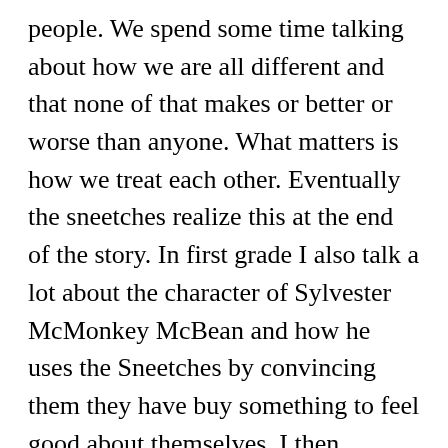people.  We spend some time talking about how we are all different and that none of that makes or better or worse than anyone.  What matters is how we treat each other.  Eventually the sneetches realize this at the end of the story.  In first grade I also talk a lot about the character of Sylvester McMonkey McBean and how he uses the Sneetches by convincing them they have buy something to feel good about themselves.  I then connect this idea to commercials that try to convince kids they need to buy specific games, toys, and clothes to make people like them.
Lesson 21: Empathy 4.  I talk about improving our emotional vocabulary and bring a worksheet called Feelings Families.  On the worksheet there are four houses: mad, sad, scared, and happy.  At